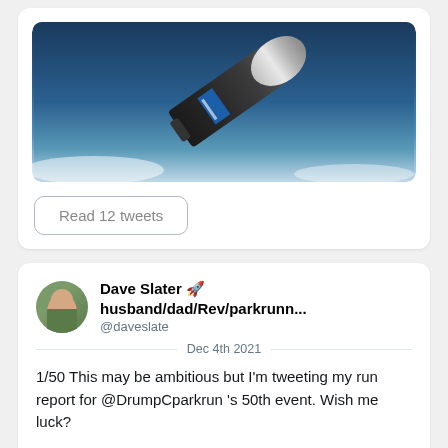[Figure (photo): A black rocket ascending against a blue sky background, shown at an angle.]
Read 12 tweets
Dave Slater 🚀 husband/dad/Rev/parkrunn...
@daveslate
Dec 4th 2021
1/50 This may be ambitious but I'm tweeting my run report for @DrumpCparkrun 's 50th event. Wish me luck?
2/50 arrival at car park, beautiful of cold morning. #drumpellier #event50 #loveparkrun